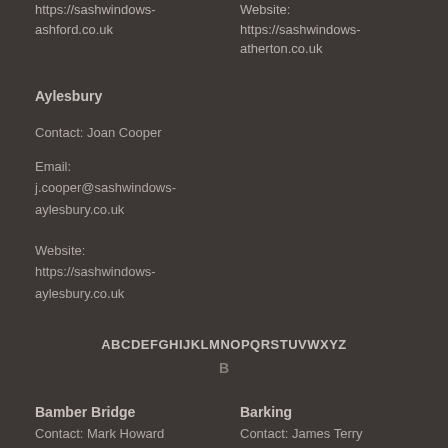https://sashwindows-ashford.co.uk
Website: https://sashwindows-atherton.co.uk
Aylesbury
Contact: Joan Cooper
Email: j.cooper@sashwindows-aylesbury.co.uk
Website: https://sashwindows-aylesbury.co.uk
ABCDEFGHIJKLMNOPQRSTUVWXYZ
B
Bamber Bridge
Barking
Contact: Mark Howard
Contact: James Terry